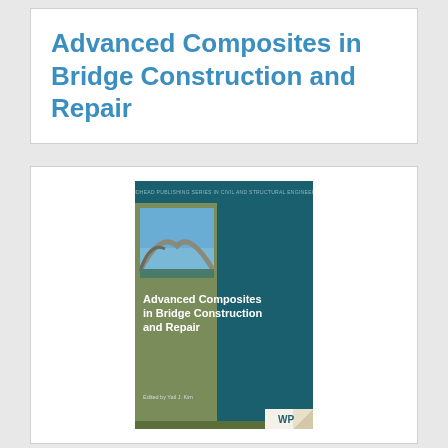Advanced Composites in Bridge Construction and Repair
[Figure (photo): Book cover of 'Advanced Composites in Bridge Construction and Repair' edited by Yail J. Kim. Published by Woodhead Publishing. Cover shows a teal/dark green background with olive green panels, a photograph of a bridge arch against blue sky, and white bold title text. Bottom right corner shows Woodhead Publishing (WP) logo with a page curl effect.]